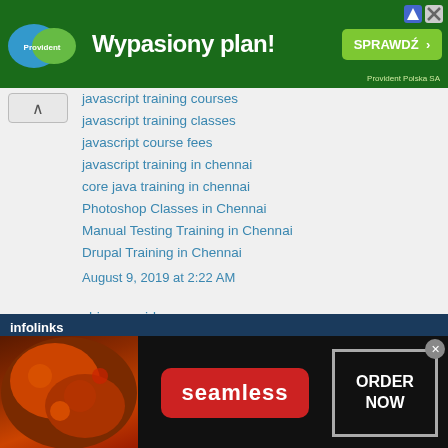[Figure (screenshot): Green Provident Polska SA banner ad with text 'Wypasiony plan!' and 'SPRAWDŹ >' button]
javascript training courses
javascript training classes
javascript course fees
javascript training in chennai
core java training in chennai
Photoshop Classes in Chennai
Manual Testing Training in Chennai
Drupal Training in Chennai
August 9, 2019 at 2:22 AM
shivam said...
Flying Shift - Packers & Movers in Bhopal
August 24, 2019 at 5:41 AM
[Figure (screenshot): Infolinks bar and Seamless food delivery advertisement with pizza image and ORDER NOW button]